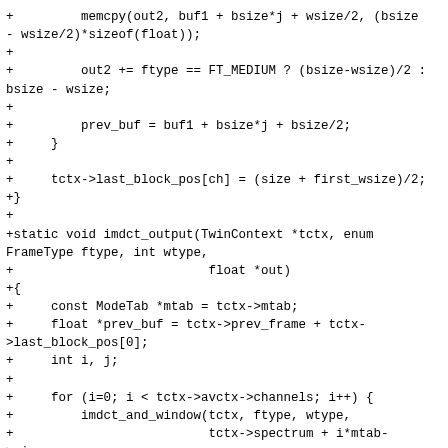+         memcpy(out2, buf1 + bsize*j + wsize/2, (bsize - wsize/2)*sizeof(float));
+
+         out2 += ftype == FT_MEDIUM ? (bsize-wsize)/2 : bsize - wsize;
+
+         prev_buf = buf1 + bsize*j + bsize/2;
+     }
+
+     tctx->last_block_pos[ch] = (size + first_wsize)/2;
+}
+
+static void imdct_output(TwinContext *tctx, enum FrameType ftype, int wtype,
+                          float *out)
+{
+     const ModeTab *mtab = tctx->mtab;
+     float *prev_buf = tctx->prev_frame + tctx->last_block_pos[0];
+     int i, j;
+
+     for (i=0; i < tctx->avctx->channels; i++) {
+         imdct_and_window(tctx, ftype, wtype,
+                          tctx->spectrum + i*mtab->size,
+                          prev_buf + 2*i*mtab->size,
+                          i);
+     }
+
+     if (tctx->avctx->channels == 2) {